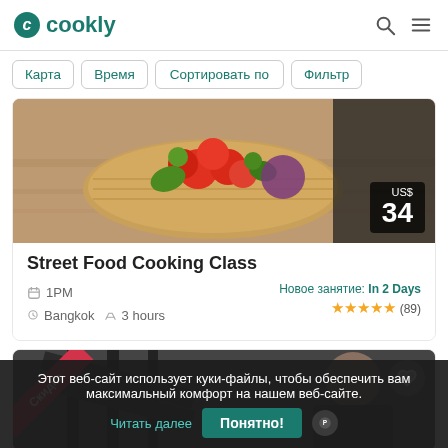cookly
Карта
Время
Сортировать по
Фильтр
[Figure (photo): Basket with fresh vegetables and tomatoes on wooden table, food class hero image]
Street Food Cooking Class
1PM  Bangkok  3 hours  Новое занятие: In 2 Days  ★★★★★ (89)
[Figure (photo): Chef in a kitchen with stairs in background, second class card with Скидка badge]
Этот веб-сайт использует куки-файлы, чтобы обеспечить вам максимальный комфорт на нашем веб-сайте. Читать далее  Понятно!